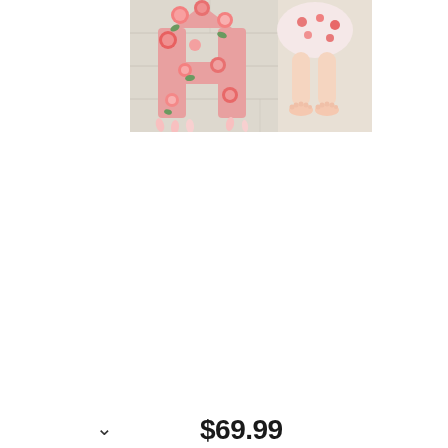[Figure (photo): A floral letter 'A' made of pink roses and other pink flowers on a light wood floor, with a baby or toddler's bare feet and floral dress visible to the right]
$69.99